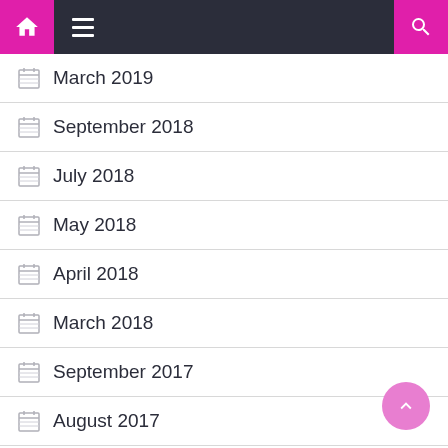Navigation bar with home, menu, and search icons
March 2019
September 2018
July 2018
May 2018
April 2018
March 2018
September 2017
August 2017
April 2017